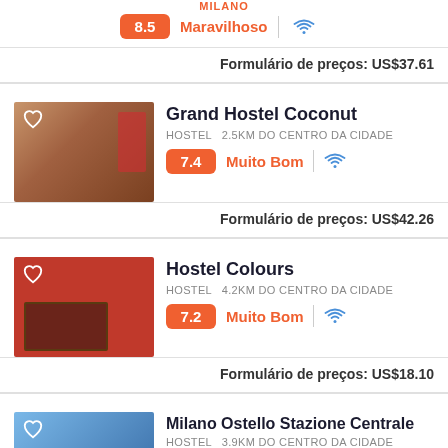MILANO
8.5  Maravilhoso  WiFi
Formulário de preços:  US$37.61
Grand Hostel Coconut
HOSTEL  2.5km do centro da cidade
7.4  Muito Bom  WiFi
Formulário de preços:  US$42.26
Hostel Colours
HOSTEL  4.2km do centro da cidade
7.2  Muito Bom  WiFi
Formulário de preços:  US$18.10
Milano Ostello Stazione Centrale
HOSTEL  3.9km do centro da cidade